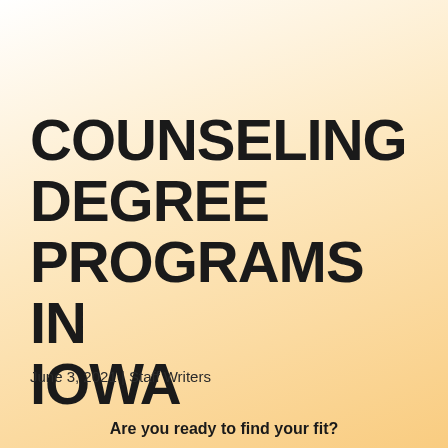COUNSELING DEGREE PROGRAMS IN IOWA
June 3, 2021 | Staff Writers
Are you ready to find your fit?